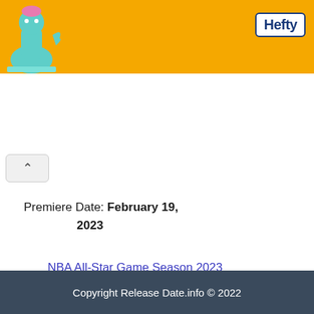[Figure (illustration): Orange advertisement banner with a cartoon character on the left and the Hefty brand logo on the right]
NBA All-Star Game Season 2023 Release Date on TNT
Premiere Date: February 19, 2023
Copyright Release Date.info © 2022